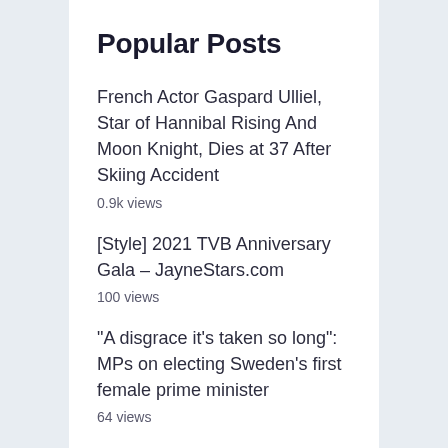Popular Posts
French Actor Gaspard Ulliel, Star of Hannibal Rising And Moon Knight, Dies at 37 After Skiing Accident
0.9k views
[Style] 2021 TVB Anniversary Gala – JayneStars.com
100 views
"A disgrace it's taken so long": MPs on electing Sweden's first female prime minister
64 views
Latest weekly jobless claims fall to 199,000, the lowest since 1969